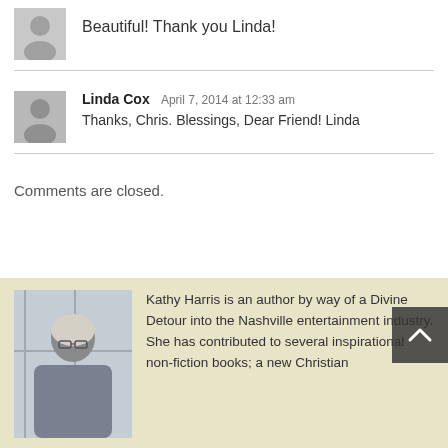Beautiful! Thank you Linda!
Linda Cox  April 7, 2014 at 12:33 am
Thanks, Chris. Blessings, Dear Friend! Linda
Comments are closed.
Kathy Harris is an author by way of a Divine Detour into the Nashville entertainment industry. She has contributed to several inspirational non-fiction books; a new Christian